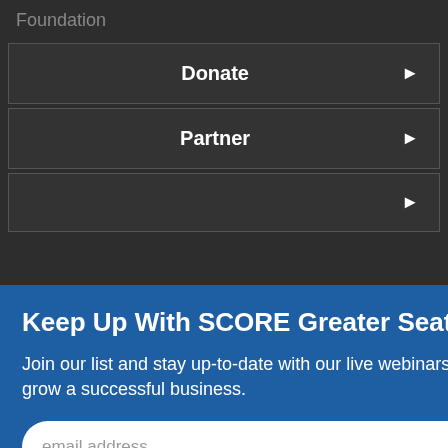Foundation
Donate
Partner
[Figure (screenshot): Blue popup modal: 'Keep Up With SCORE Greater Seattle' with email subscription form and SUBMIT button]
opinions, and/or recommendations expressed herein are those of the author(s) and do not necessarily reflect the views of the SBA.